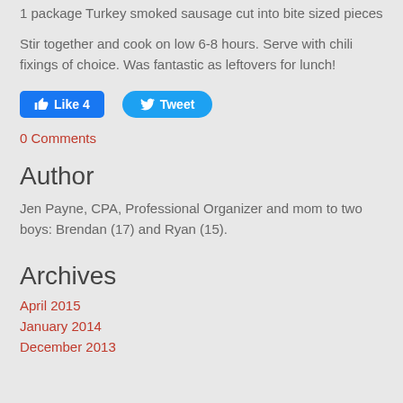1 package Turkey smoked sausage cut into bite sized pieces
Stir together and cook on low 6-8 hours.  Serve with chili fixings of choice.  Was fantastic as leftovers for lunch!
[Figure (other): Facebook Like button showing 'Like 4' and Twitter Tweet button]
0 Comments
Author
Jen Payne, CPA, Professional Organizer and mom to two boys: Brendan (17) and Ryan (15).
Archives
April 2015
January 2014
December 2013